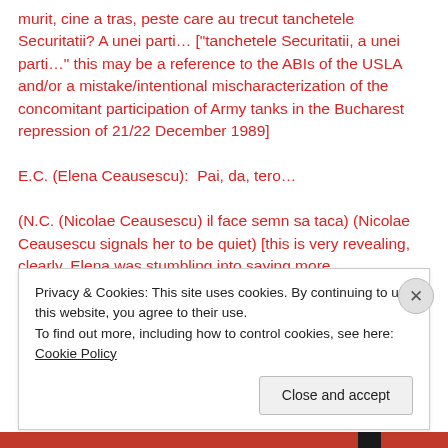murit, cine a tras, peste care au trecut tanchetele Securitatii? A unei parti… ["tanchetele Securitatii, a unei parti…" this may be a reference to the ABIs of the USLA and/or a mistake/intentional mischaracterization of the concomitant participation of Army tanks in the Bucharest repression of 21/22 December 1989]
E.C. (Elena Ceausescu):  Pai, da, tero…
(N.C. (Nicolae Ceausescu) il face semn sa taca) (Nicolae Ceausescu signals her to be quiet) [this is very revealing,  clearly, Elena was stumbling into saying more
Privacy & Cookies: This site uses cookies. By continuing to use this website, you agree to their use.
To find out more, including how to control cookies, see here: Cookie Policy
Close and accept